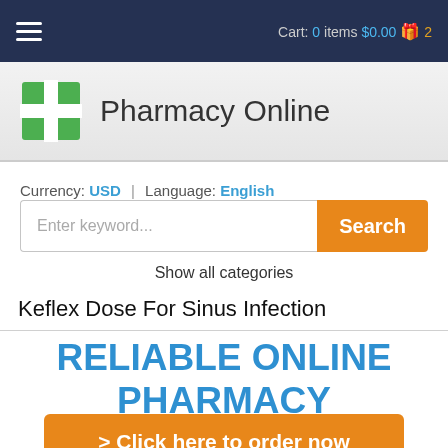≡  Cart: 0 items $0.00 🎁 2
[Figure (logo): Green cross logo with four squares]
Pharmacy Online
Currency: USD | Language: English
Enter keyword...  Search
Show all categories
Keflex Dose For Sinus Infection
RELIABLE ONLINE PHARMACY
> Click here to order now